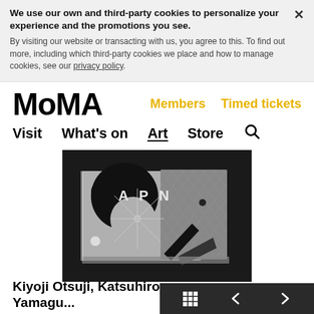We use our own and third-party cookies to personalize your experience and the promotions you see. By visiting our website or transacting with us, you agree to this. To find out more, including which third-party cookies we place and how to manage cookies, see our privacy policy.
MoMA
Members   Timed tickets
Visit   What's on   Art   Store   🔍
[Figure (photo): Black and white photograph of an artistic book or panel with abstract geometric design including a crescent/circle shape, the letters 'A P N', radiating lines, and crosshatched patterns on a dark background.]
Kiyoji Otsuji, Katsuhiro Yamagu...